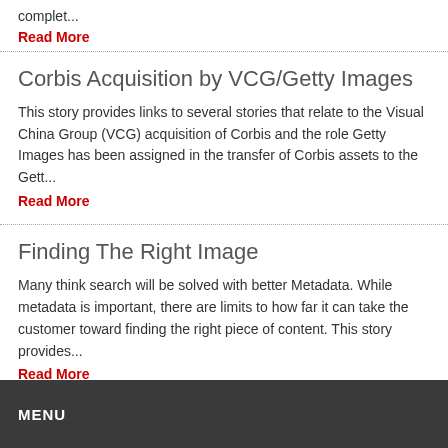complet...
Read More
Corbis Acquisition by VCG/Getty Images
This story provides links to several stories that relate to the Visual China Group (VCG) acquisition of Corbis and the role Getty Images has been assigned in the transfer of Corbis assets to the Gett...
Read More
Finding The Right Image
Many think search will be solved with better Metadata. While metadata is important, there are limits to how far it can take the customer toward finding the right piece of content. This story provides...
Read More
More from Free Stuff
MENU